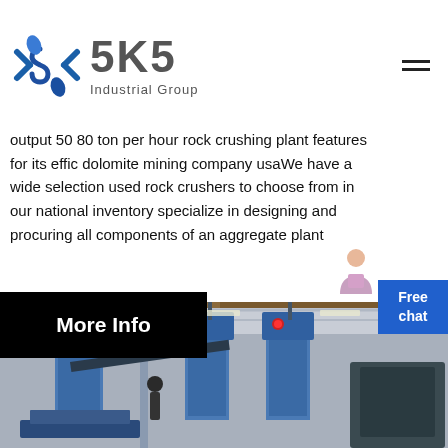[Figure (logo): SKS Industrial Group logo with stylized S diamond shape in blue and text]
output 50 80 ton per hour rock crushing plant features for its effic dolomite mining company usaWe have a wide selection used rock crushers to choose from in our national inventory specialize in designing and procuring all components of an aggregate plant
[Figure (illustration): Black button with white bold text 'More Info']
[Figure (photo): Industrial machinery in a factory/warehouse setting showing blue heavy equipment with workers, overhead cranes and steel structure ceiling]